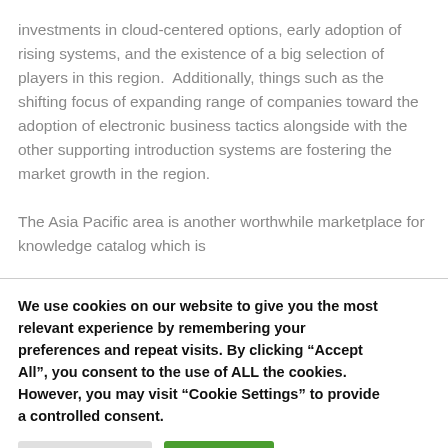investments in cloud-centered options, early adoption of rising systems, and the existence of a big selection of players in this region.  Additionally, things such as the shifting focus of expanding range of companies toward the adoption of electronic business tactics alongside with the other supporting introduction systems are fostering the market growth in the region.
The Asia Pacific area is another worthwhile marketplace for knowledge catalog which is
We use cookies on our website to give you the most relevant experience by remembering your preferences and repeat visits. By clicking “Accept All”, you consent to the use of ALL the cookies. However, you may visit “Cookie Settings” to provide a controlled consent.
Cookie Settings
Accept All